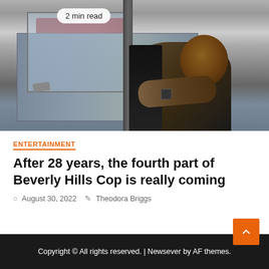[Figure (photo): A man sitting in the driver's seat of a car, looking out the window. The scene is from a movie scene — appears to be from Beverly Hills Cop. A '2 min read' badge is overlaid in the top-left of the image.]
ENTERTAINMENT
After 28 years, the fourth part of Beverly Hills Cop is really coming
August 30, 2022  Theodora Briggs
Copyright © All rights reserved. | Newsever by AF themes.